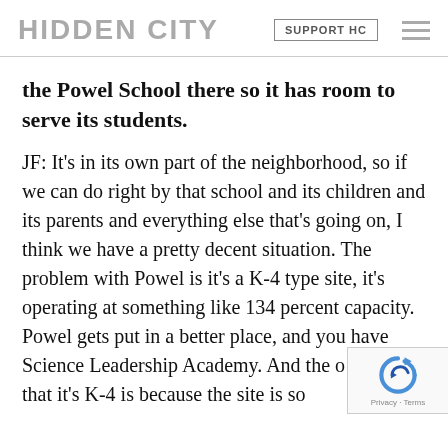HIDDEN CITY | SUPPORT HC
the Powel School there so it has room to serve its students.
JF: It’s in its own part of the neighborhood, so if we can do right by that school and its children and its parents and everything else that’s going on, I think we have a pretty decent situation. The problem with Powel is it’s a K-4 type site, it’s operating at something like 134 percent capacity. Powel gets put in a better place, and you have Science Leadership Academy. And the other reason that it’s K-4 is because the site is so